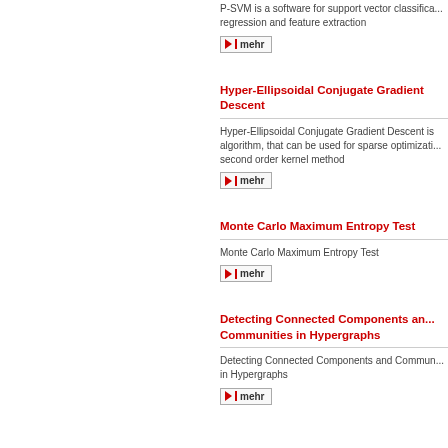P-SVM is a software for support vector classification, regression and feature extraction
mehr
Hyper-Ellipsoidal Conjugate Gradient Descent
Hyper-Ellipsoidal Conjugate Gradient Descent is algorithm, that can be used for sparse optimization second order kernel method
mehr
Monte Carlo Maximum Entropy Test
Monte Carlo Maximum Entropy Test
mehr
Detecting Connected Components and Communities in Hypergraphs
Detecting Connected Components and Communities in Hypergraphs
mehr